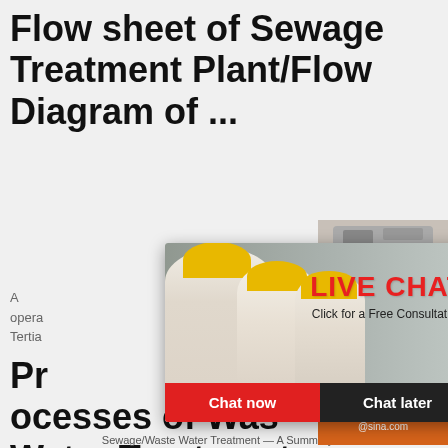Flow sheet of Sewage Treatment Plant/Flow Diagram of ...
A ... opera... Tertia...
[Figure (screenshot): Live chat popup overlay with workers wearing yellow hard hats, LIVE CHAT header in red, 'Click for a Free Consultation' text, and Chat now / Chat later buttons]
[Figure (screenshot): Right sidebar advertisement with orange background, machinery images, 'Enjoy 3% discount', 'Click to Chat', 'Enquiry', and 'limingjImofen@sina.com' contact info]
Processes of Waste Water Treatment: Process (With Diagram)
Sewage/Waste Water Treatment — A Summary: A